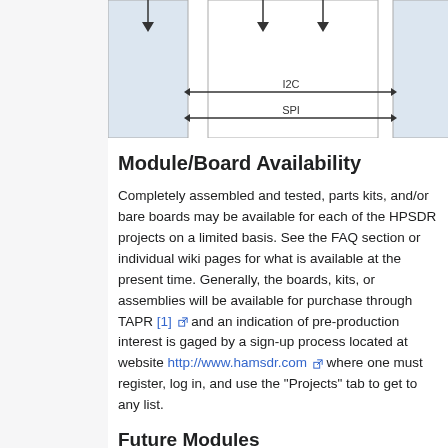[Figure (schematic): Partial engineering schematic/block diagram showing I2C and SPI bus connections between modules. Two rectangular blocks connected by horizontal double-headed arrows labeled I2C and SPI. The blocks have light blue/gray fills with downward arrows at top.]
Module/Board Availability
Completely assembled and tested, parts kits, and/or bare boards may be available for each of the HPSDR projects on a limited basis. See the FAQ section or individual wiki pages for what is available at the present time. Generally, the boards, kits, or assemblies will be available for purchase through TAPR [1] and an indication of pre-production interest is gaged by a sign-up process located at website http://www.hamsdr.com where one must register, log in, and use the "Projects" tab to get to any list.
Future Modules
In order to provide a complete SDR transceiver